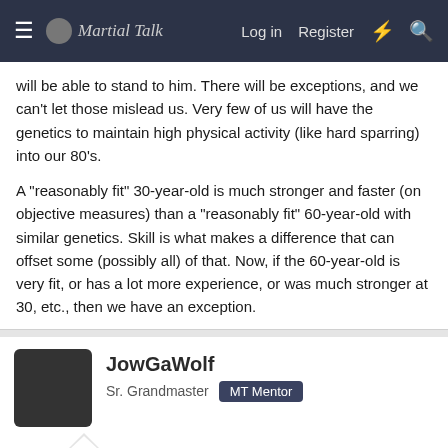Martial Talk — Log in  Register
will be able to stand to him. There will be exceptions, and we can't let those mislead us. Very few of us will have the genetics to maintain high physical activity (like hard sparring) into our 80's.

A "reasonably fit" 30-year-old is much stronger and faster (on objective measures) than a "reasonably fit" 60-year-old with similar genetics. Skill is what makes a difference that can offset some (possibly all) of that. Now, if the 60-year-old is very fit, or has a lot more experience, or was much stronger at 30, etc., then we have an exception.
JowGaWolf
Sr. Grandmaster  MT Mentor
Jul 21, 2017  #19